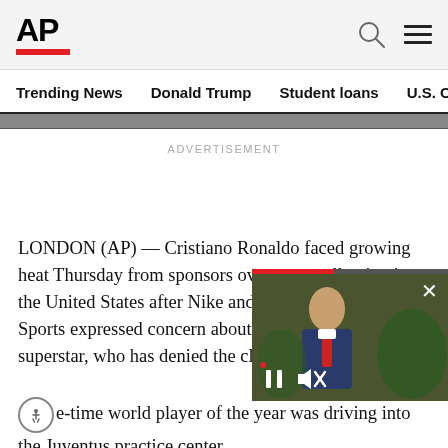AP
Trending News   Donald Trump   Student loans   U.S. Open Tenn
ADVERTISEMENT
LONDON (AP) — Cristiano Ronaldo faced growing heat Thursday from sponsors over a rap... United States after Nike and video... Sports expressed concern about th... soccer superstar, who has denied t...
...e-time world player of the y... driving into the Juventus practice c...